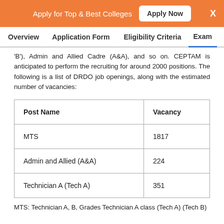Apply for Top & Best Colleges   Apply Now   X
Overview   Application Form   Eligibility Criteria   Exam
'B'), Admin and Allied Cadre (A&A), and so on. CEPTAM is anticipated to perform the recruiting for around 2000 positions. The following is a list of DRDO job openings, along with the estimated number of vacancies:
| Post Name | Vacancy |
| --- | --- |
| MTS | 1817 |
| Admin and Allied (A&A) | 224 |
| Technician A (Tech A) | 351 |
MTS: Technician A, B, Grades Technician A class (Tech A) (Tech B)